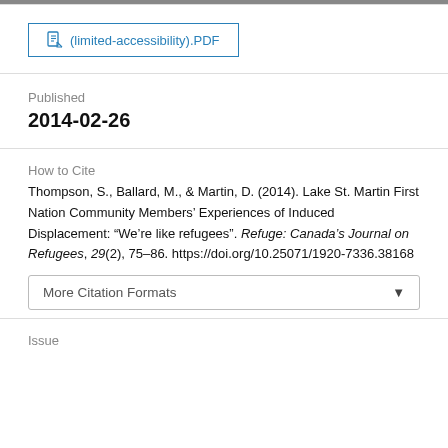[Figure (other): Top grey progress/navigation bar]
(limited-accessibility).PDF
Published
2014-02-26
How to Cite
Thompson, S., Ballard, M., & Martin, D. (2014). Lake St. Martin First Nation Community Members' Experiences of Induced Displacement: “We’re like refugees”. Refuge: Canada’s Journal on Refugees, 29(2), 75–86. https://doi.org/10.25071/1920-7336.38168
More Citation Formats
Issue